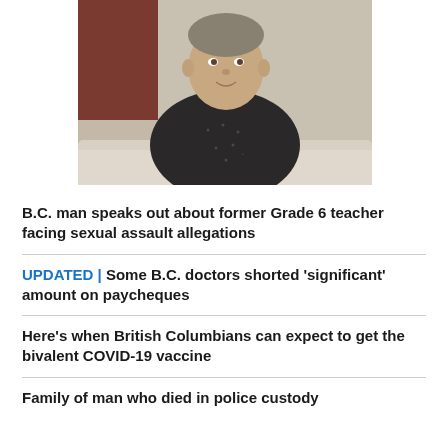[Figure (photo): A middle-aged man with short hair sitting on a white/cream sofa, wearing a dark patterned short-sleeve shirt, arms crossed, smiling slightly. Background shows a brownish-red wall panel.]
B.C. man speaks out about former Grade 6 teacher facing sexual assault allegations
UPDATED | Some B.C. doctors shorted 'significant' amount on paycheques
Here's when British Columbians can expect to get the bivalent COVID-19 vaccine
Family of man who died in police custody